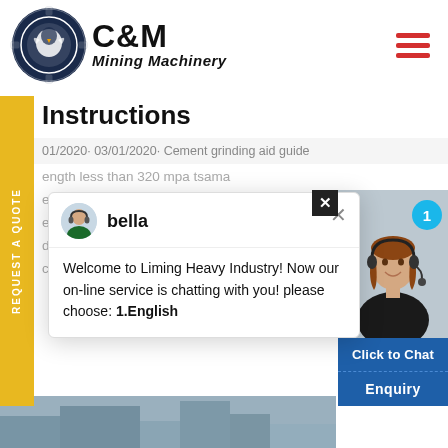[Figure (logo): C&M Mining Machinery logo with eagle gear icon and company name]
Instructions
01/2020· 03/01/2020· Cement grinding aid guide
ength less than 320 mpa tsama
ement grinding process for op
em q 28 l 1325 2014 13 introduct
duced by cogrinding clinker. Re
compute cemnet ...
[Figure (screenshot): Chat popup with bella agent from Liming Heavy Industry]
[Figure (photo): Agent photo with Click to Chat and Enquiry buttons]
[Figure (photo): Bottom image strip showing industrial machinery]